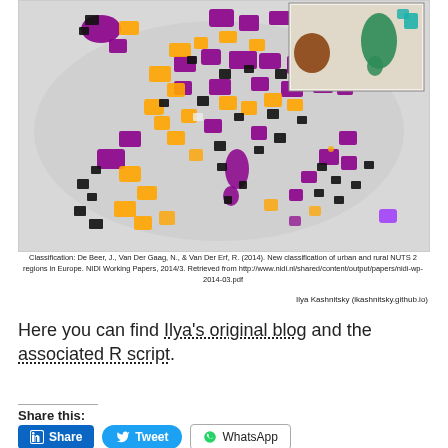[Figure (map): Choropleth map of Europe showing classification of urban and rural NUTS 2 regions, with regions colored in purple, orange/yellow, black, and teal/brown. An inset map in the top-right shows a zoomed region. Background shows European continent outlines in light gray.]
Classification: De Beer, J., Van Der Gaag, N., & Van Der Erf, R. (2014). New classification of urban and rural NUTS 2 regions in Europe. NIDI Working Papers, 2014/3. Retrieved from http://www.nidi.nl/shared/content/output/papers/nidi-wp-2014-03.pdf
Ilya Kashnitsky (ikashnitsky.github.io)
Here you can find Ilya's original blog and the associated R script.
Share this: